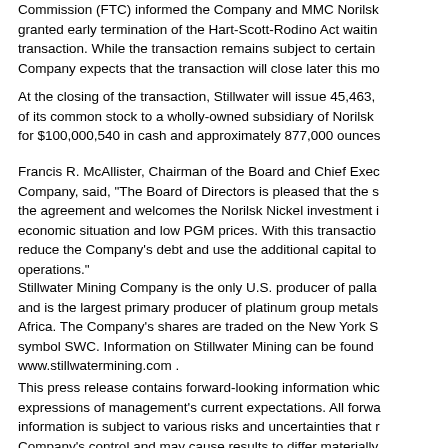Commission (FTC) informed the Company and MMC Norilsk Nickel that they granted early termination of the Hart-Scott-Rodino Act waiting period for the transaction. While the transaction remains subject to certain other conditions, the Company expects that the transaction will close later this month.
At the closing of the transaction, Stillwater will issue 45,463,— shares of its common stock to a wholly-owned subsidiary of Norilsk Nickel in exchange for $100,000,540 in cash and approximately 877,000 ounces—
Francis R. McAllister, Chairman of the Board and Chief Executive Officer of the Company, said, "The Board of Directors is pleased that the shareholders approved the agreement and welcomes the Norilsk Nickel investment in our Company during the economic situation and low PGM prices. With this transaction, the Company intends to reduce the Company's debt and use the additional capital to fund ongoing mining operations."
Stillwater Mining Company is the only U.S. producer of palladium and platinum and is the largest primary producer of platinum group metals outside of South Africa. The Company's shares are traded on the New York Stock Exchange under the symbol SWC. Information on Stillwater Mining can be found on the web at www.stillwatermining.com .
This press release contains forward-looking information which is based on expressions of management's current expectations. All forward-looking information is subject to various risks and uncertainties that may be beyond the Company's control and may cause results to differ materially—